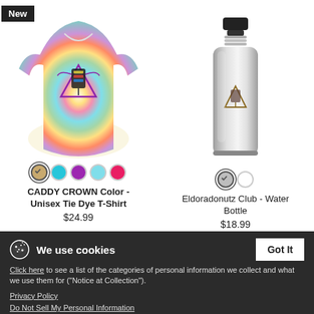[Figure (photo): Tie dye colorful unisex t-shirt with a graphic design (microphone with wings inside a triangle) on the front. A 'New' badge is shown in the top-left corner. Color swatches below: selected tan/yellow, cyan, purple, light blue, pink.]
CADDY CROWN Color - Unisex Tie Dye T-Shirt
$24.99
[Figure (photo): Silver stainless steel water bottle with a black sport cap and a small graphic logo on the front. Color swatches below: selected silver/gray, white.]
Eldoradonutz Club - Water Bottle
$18.99
We use cookies
Click here to see a list of the categories of personal information we collect and what we use them for ("Notice at Collection").
Privacy Policy
Do Not Sell My Personal Information
By using this website, I agree to the Terms and Conditions